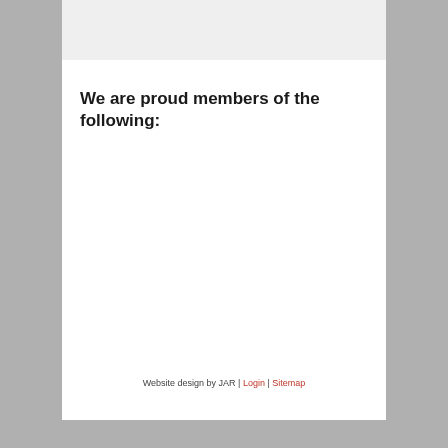We are proud members of the following:
Website design by JAR | Login | Sitemap